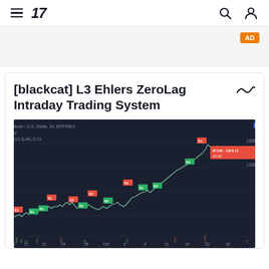TradingView navigation bar with hamburger menu, logo '17', search icon, and user icon
[Figure (other): Advertisement banner area with orange AD label in top right]
[blackcat] L3 Ehlers ZeroLag Intraday Trading System
[Figure (screenshot): TradingView chart screenshot showing Bitcoin / U.S. Dollar, 1h, BITFINEX with candlestick/line chart showing trading signals. Red sell signals and green buy signals marked on chart. Price shows upward trend from left to right. X-axis shows dates, y-axis shows price levels around 11000-12000+.]